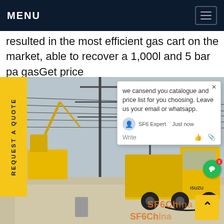MENU
resulted in the most efficient gas cart on the market, able to recover a 1,000l and 5 bar pa gasGet price
[Figure (photo): Yellow Isuzu truck and crane vehicle at a power substation construction site with high-voltage transmission towers in the background. A chat popup overlay is visible on the right side of the image.]
REQUEST A QUOTE
we cansend you catalogue and price list for you choosing. Leave us your email or whatsapp.
SF6 Expert   Just now
Write
SF6China